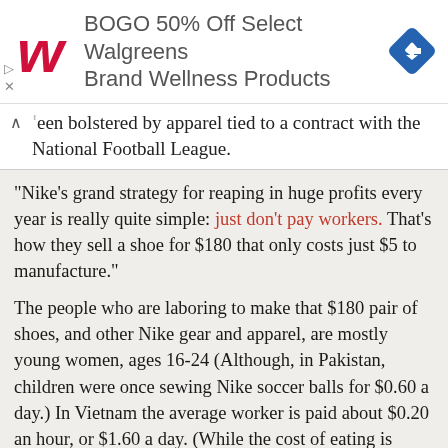[Figure (screenshot): Walgreens advertisement banner: red cursive W logo, text 'BOGO 50% Off Select Walgreens Brand Wellness Products', blue diamond navigation icon]
een bolstered by apparel tied to a contract with the National Football League.
"Nike's grand strategy for reaping in huge profits every year is really quite simple: just don't pay workers. That's how they sell a shoe for $180 that only costs just $5 to manufacture."
The people who are laboring to make that $180 pair of shoes, and other Nike gear and apparel, are mostly young women, ages 16-24 (Although, in Pakistan, children were once sewing Nike soccer balls for $0.60 a day.) In Vietnam the average worker is paid about $0.20 an hour, or $1.60 a day. (While the cost of eating is reportedly $2.10 a day).
And workers in Vietnam are forced to work 65 hours a week. Not only are they forced into overtime without compensation, the 65 hour work week is in clear violation of Vietnamese labor laws. In the Sam Yang factory in Vietnam there is only one doctor who